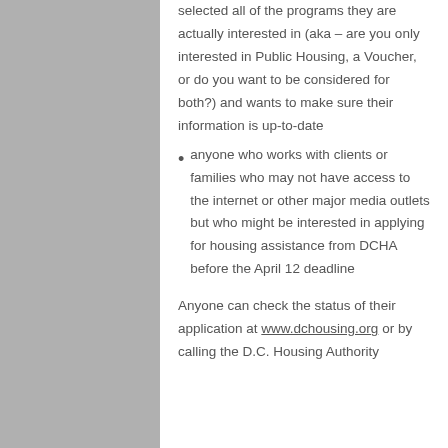selected all of the programs they are actually interested in (aka – are you only interested in Public Housing, a Voucher, or do you want to be considered for both?) and wants to make sure their information is up-to-date
anyone who works with clients or families who may not have access to the internet or other major media outlets but who might be interested in applying for housing assistance from DCHA before the April 12 deadline
Anyone can check the status of their application at www.dchousing.org or by calling the D.C. Housing Authority